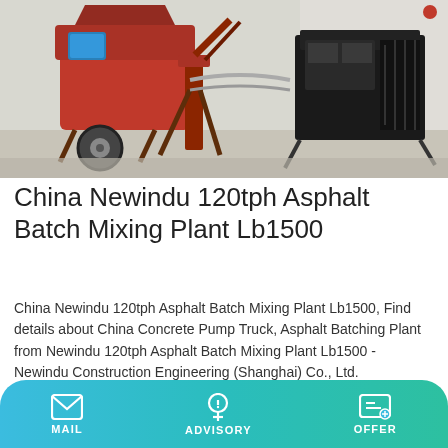[Figure (photo): Red industrial asphalt batch mixing plant machinery on a concrete surface outdoors, with mechanical components, wheels, and support frames visible.]
China Newindu 120tph Asphalt Batch Mixing Plant Lb1500
China Newindu 120tph Asphalt Batch Mixing Plant Lb1500, Find details about China Concrete Pump Truck, Asphalt Batching Plant from Newindu 120tph Asphalt Batch Mixing Plant Lb1500 - Newindu Construction Engineering (Shanghai) Co., Ltd.
Learn More
MAIL   ADVISORY   OFFER